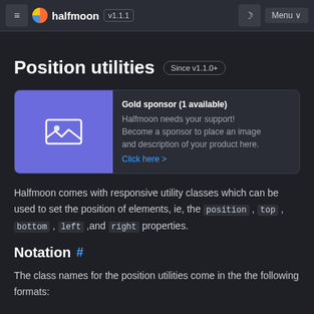halfmoon v1.1.1  Menu
Position utilities Since v1.1.0+
[Figure (other): Gold sponsor advertisement card with purple image placeholder and text: Gold sponsor (1 available). Halfmoon needs your support! Become a sponsor to place an image and description of your product here. Click here >]
Halfmoon comes with responsive utility classes which can be used to set the position of elements, ie, the position, top, bottom, left, and right properties.
Notation #
The class names for the position utilities come in the the following formats: